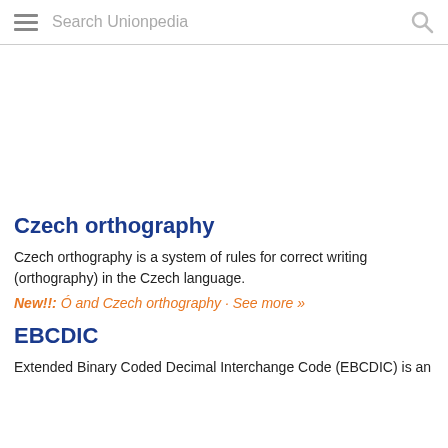Search Unionpedia
Czech orthography
Czech orthography is a system of rules for correct writing (orthography) in the Czech language.
New!!: Ó and Czech orthography · See more »
EBCDIC
Extended Binary Coded Decimal Interchange Code (EBCDIC) is an